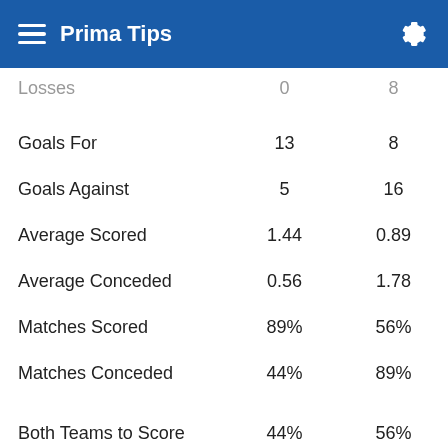Prima Tips
|  | Col1 | Col2 |
| --- | --- | --- |
| Losses | 0 | 8 |
| Goals For | 13 | 8 |
| Goals Against | 5 | 16 |
| Average Scored | 1.44 | 0.89 |
| Average Conceded | 0.56 | 1.78 |
| Matches Scored | 89% | 56% |
| Matches Conceded | 44% | 89% |
| Both Teams to Score | 44% | 56% |
| Over 1.5 | 56% | 78% |
| Over 2.5 | 33% | 44% |